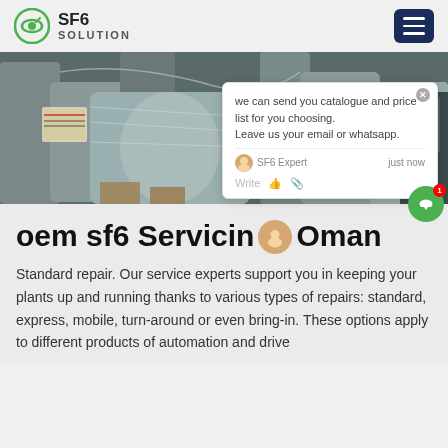SF6 SOLUTION
[Figure (photo): Industrial SF6 machinery/equipment wrapped in plastic sheeting in a facility]
oem sf6 Servicing Oman
Standard repair. Our service experts support you in keeping your plants up and running thanks to various types of repairs: standard, express, mobile, turn-around or even bring-in. These options apply to different products of automation and drive